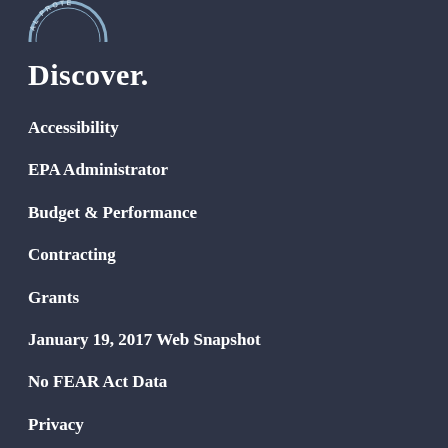[Figure (logo): Partial circular EPA seal/logo, white on dark background, showing text 'AL PROTE' visible at top]
Discover.
Accessibility
EPA Administrator
Budget & Performance
Contracting
Grants
January 19, 2017 Web Snapshot
No FEAR Act Data
Privacy